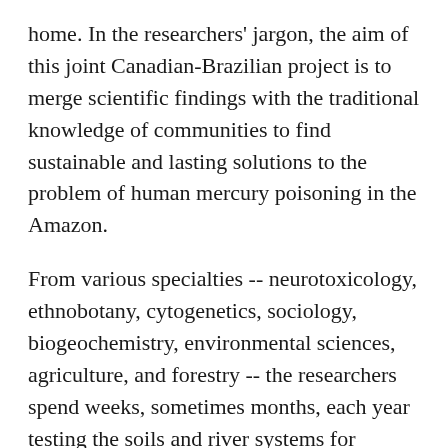home. In the researchers' jargon, the aim of this joint Canadian-Brazilian project is to merge scientific findings with the traditional knowledge of communities to find sustainable and lasting solutions to the problem of human mercury poisoning in the Amazon.
From various specialties -- neurotoxicology, ethnobotany, cytogenetics, sociology, biogeochemistry, environmental sciences, agriculture, and forestry -- the researchers spend weeks, sometimes months, each year testing the soils and river systems for mercury levels and making an inventory of fish species and contamination levels. But the most important work is with the villagers living along the river, discussing the problems and hazards with them; checking their manual dexterity, coordination, and vision as well as blood, urine, and hair samples; and then working